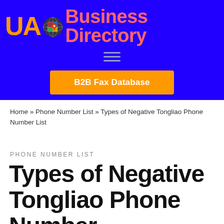[Figure (logo): UA Business Directory logo with globe icon on blue background, orange UA text, salmon-colored 'Business Directory' text]
B2B Fax Database
Home » Phone Number List » Types of Negative Tongliao Phone Number List
PHONE NUMBER LIST
Types of Negative Tongliao Phone Number